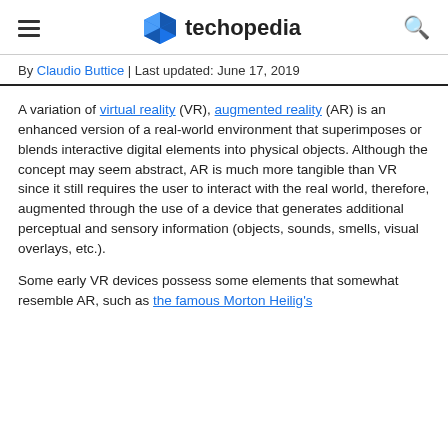techopedia
By Claudio Buttice | Last updated: June 17, 2019
A variation of virtual reality (VR), augmented reality (AR) is an enhanced version of a real-world environment that superimposes or blends interactive digital elements into physical objects. Although the concept may seem abstract, AR is much more tangible than VR since it still requires the user to interact with the real world, therefore, augmented through the use of a device that generates additional perceptual and sensory information (objects, sounds, smells, visual overlays, etc.).
Some early VR devices possess some elements that somewhat resemble AR, such as the famous Morton Heilig's Sensorama (1957)...